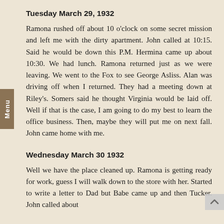Tuesday March 29, 1932
Ramona rushed off about 10 o'clock on some secret mission and left me with the dirty apartment. John called at 10:15. Said he would be down this P.M. Hermina came up about 10:30. We had lunch. Ramona returned just as we were leaving. We went to the Fox to see George Asliss. Alan was driving off when I returned. They had a meeting down at Riley's. Somers said he thought Virginia would be laid off. Well if that is the case, I am going to do my best to learn the office business. Then, maybe they will put me on next fall. John came home with me.
Wednesday March 30 1932
Well we have the place cleaned up. Ramona is getting ready for work, guess I will walk down to the store with her. Started to write a letter to Dad but Babe came up and then Tucker. John called about